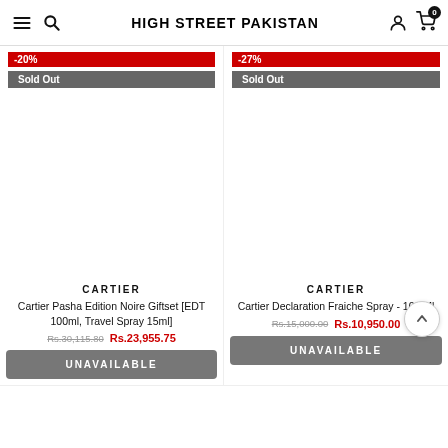HIGH STREET PAKISTAN
[Figure (screenshot): Product card left: -20% discount badge, Sold Out badge, product image area (empty white), brand CARTIER, product name Cartier Pasha Edition Noire Giftset [EDT 100ml, Travel Spray 15ml], original price Rs.30,115.80, sale price Rs.23,955.75, UNAVAILABLE button]
[Figure (screenshot): Product card right: -27% discount badge, Sold Out badge, product image area (empty white), brand CARTIER, product name Cartier Declaration Fraiche Spray - 100 Ml, original price Rs.15,000.00, sale price Rs.10,950.00, UNAVAILABLE button, back-to-top circle button]